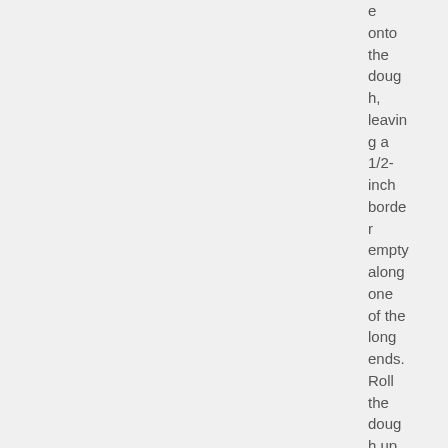e onto the dough, leaving a 1/2-inch border empty along one of the long ends. Roll the dough up tightly like a